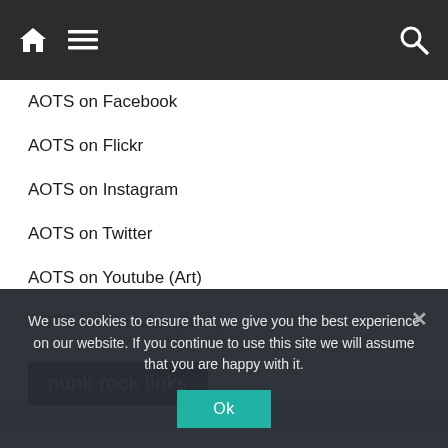Navigation bar with home icon, menu icon, and search icon
AOTS on Facebook
AOTS on Flickr
AOTS on Instagram
AOTS on Twitter
AOTS on Youtube (Art)
AOTS On Youtube (Punk)
punk rock links
We use cookies to ensure that we give you the best experience on our website. If you continue to use this site we will assume that you are happy with it.